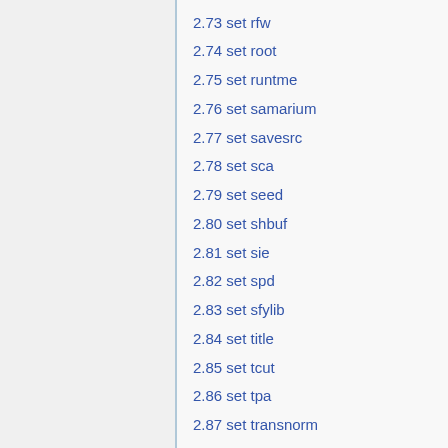2.73 set rfw
2.74 set root
2.75 set runtme
2.76 set samarium
2.77 set savesrc
2.78 set sca
2.79 set seed
2.80 set shbuf
2.81 set sie
2.82 set spd
2.83 set sfylib
2.84 set title
2.85 set tcut
2.86 set tpa
2.87 set transnorm
2.88 set trc
2.89 set ufs
2.90 set ures
2.91 set usym
2.92 set U235H